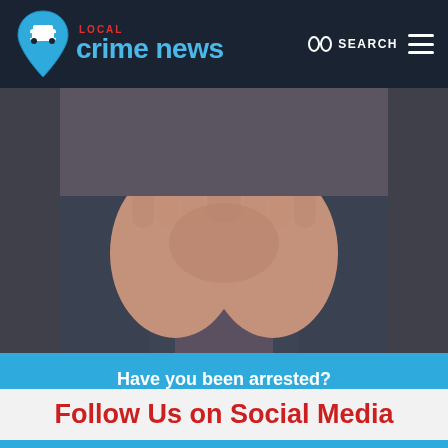LOCAL crime news | SEARCH
[Figure (photo): Close-up photo of two hands with fingers interlocked, person wearing jeans, dark background]
Have you been arrested? We can match you up with a defense attorney in your area. Let's get started!
I Need A Lawyer
Follow Us on Social Media